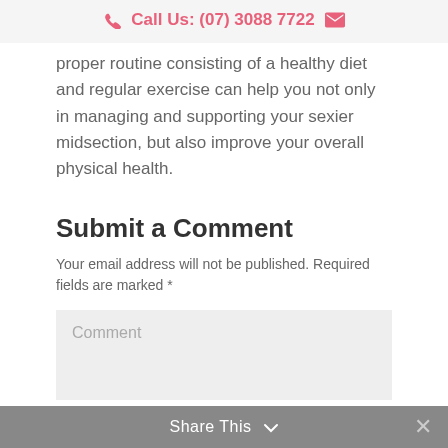Call Us: (07) 3088 7722
proper routine consisting of a healthy diet and regular exercise can help you not only in managing and supporting your sexier midsection, but also improve your overall physical health.
Submit a Comment
Your email address will not be published. Required fields are marked *
Comment
Share This